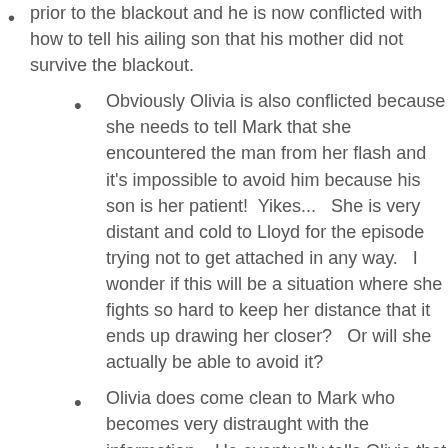prior to the blackout and he is now conflicted with how to tell his ailing son that his mother did not survive the blackout.
Obviously Olivia is also conflicted because she needs to tell Mark that she encountered the man from her flash and it's impossible to avoid him because his son is her patient!  Yikes...   She is very distant and cold to Lloyd for the episode trying not to get attached in any way.   I wonder if this will be a situation where she fights so hard to keep her distance that it ends up drawing her closer?   Or will she actually be able to avoid it?
Olivia does come clean to Mark who becomes very distraught with the information.   He eventually tells Olivia that he was glad she told him because they shouldn't keep information from each other.  (convenient break from the scene shows Mark's flash of him drinking again which he has avoided telling Olivia).
Oh right, Charlie also didn't recognize Lloyd when